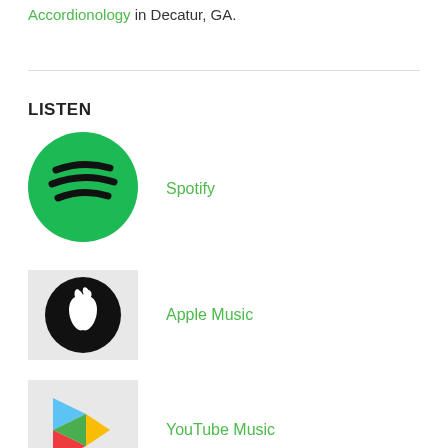Accordionology in Decatur, GA.
LISTEN
[Figure (logo): Spotify green circle logo with three black curved lines]
Spotify
[Figure (logo): Apple black circle logo with apple icon on gray background]
Apple Music
[Figure (logo): Google Play triangle logo on gray background]
YouTube Music